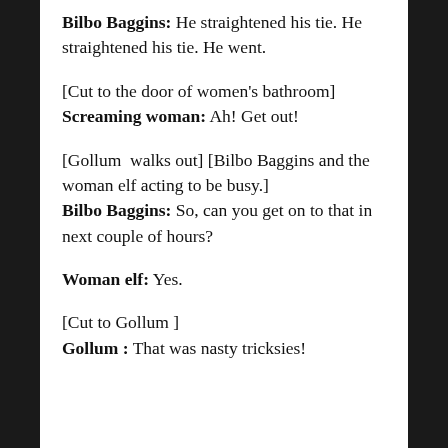Bilbo Baggins: He straightened his tie. He straightened his tie. He went.
[Cut to the door of women's bathroom]
Screaming woman: Ah! Get out!
[Gollum  walks out] [Bilbo Baggins and the woman elf acting to be busy.]
Bilbo Baggins: So, can you get on to that in next couple of hours?
Woman elf: Yes.
[Cut to Gollum ]
Gollum : That was nasty tricksies!